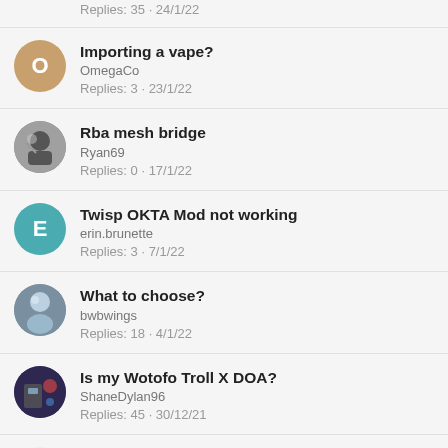Replies: 35 · 24/1/22
Importing a vape? | OmegaCo | Replies: 3 · 23/1/22
Rba mesh bridge | Ryan69 | Replies: 0 · 17/1/22
Twisp OKTA Mod not working | erin.brunette | Replies: 3 · 7/1/22
What to choose? | bwbwings | Replies: 18 · 4/1/22
Is my Wotofo Troll X DOA? | ShaneDylan96 | Replies: 45 · 30/12/21
Single coil rda DI